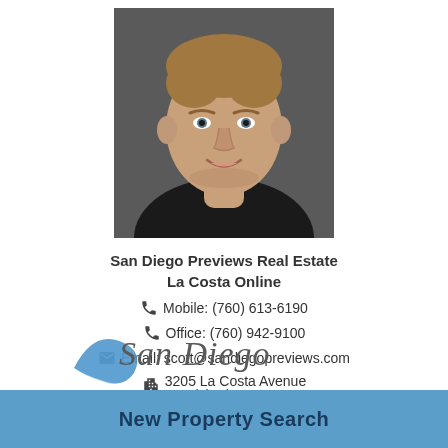[Figure (photo): Headshot of a male real estate agent with short blonde hair, smiling, wearing a dark shirt]
San Diego Previews Real Estate
La Costa Online
Mobile: (760) 613-6190
Office: (760) 942-9100
Email: scott@sandiegopreviews.com
3205 La Costa Avenue
Carlsbad, CA 92009
CA BRE# 01458993
[Figure (logo): San Diego Previews cursive logo in blue and grey script]
New Property Search